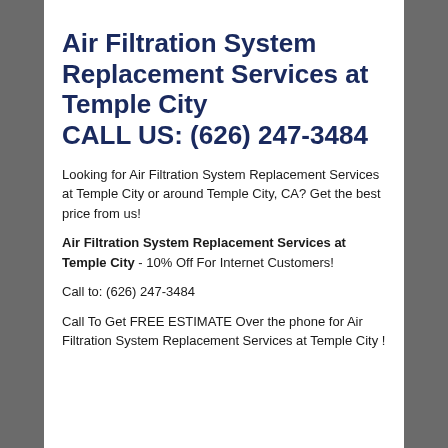Air Filtration System Replacement Services at Temple City CALL US: (626) 247-3484
Looking for Air Filtration System Replacement Services at Temple City or around Temple City, CA? Get the best price from us!
Air Filtration System Replacement Services at Temple City - 10% Off For Internet Customers!
Call to: (626) 247-3484
Call To Get FREE ESTIMATE Over the phone for Air Filtration System Replacement Services at Temple City !